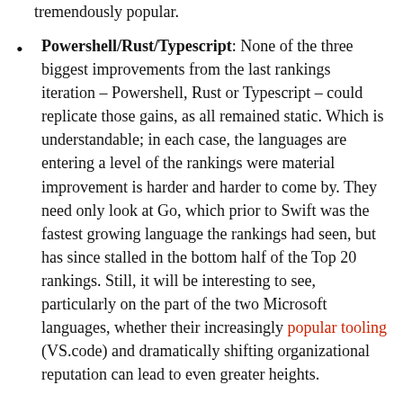tremendously popular.
Powershell/Rust/Typescript: None of the three biggest improvements from the last rankings iteration – Powershell, Rust or Typescript – could replicate those gains, as all remained static. Which is understandable; in each case, the languages are entering a level of the rankings were material improvement is harder and harder to come by. They need only look at Go, which prior to Swift was the fastest growing language the rankings had seen, but has since stalled in the bottom half of the Top 20 rankings. Still, it will be interesting to see, particularly on the part of the two Microsoft languages, whether their increasingly popular tooling (VS.code) and dramatically shifting organizational reputation can lead to even greater heights.